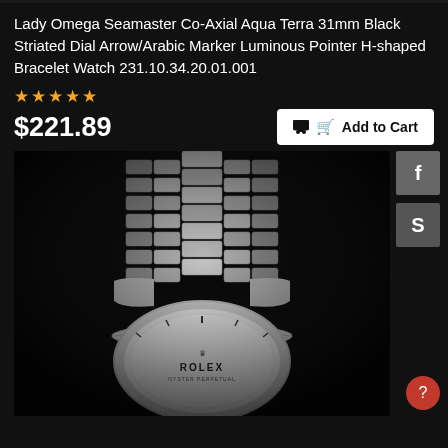Lady Omega Seamaster Co-Axial Aqua Terra 31mm Black Striated Dial Arrow/Arabic Marker Luminous Pointer H-shaped Bracelet Watch 231.10.34.20.01.001
★★★★★
$221.89
🛒 Add to Cart
[Figure (photo): Close-up photo of a luxury watch (Rolex branded visible) with a silver/stainless steel jubilee-style bracelet on a dark background. The watch face is partially visible at the bottom showing the Rolex logo.]